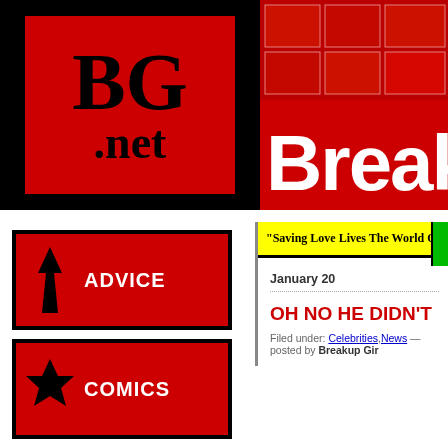[Figure (logo): BG.net logo - black background with red rectangle containing BG.net text in bold serif font]
[Figure (screenshot): Breakup Girl banner header in red with white bold text reading 'Breaku...' (cropped), comic strip collage in background]
[Figure (illustration): ADVICE navigation button - red square with black lightning bolt icon and white ADVICE text]
[Figure (illustration): COMICS navigation button - red square with black starburst icon and white COMICS text]
[Figure (illustration): ANIMATION navigation button - red square with black film strip icon and white ANIMATION text]
[Figure (illustration): GOODIES navigation button - red square with black cursor icon and white GOODIES text]
"Saving Love Lives The World Over!"
January 20
OH NO HE DIDN'T
Filed under: Celebrities,News — posted by Breakup Girl